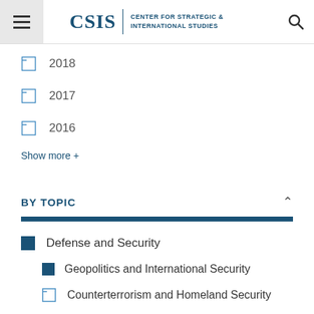CSIS | CENTER FOR STRATEGIC & INTERNATIONAL STUDIES
2018
2017
2016
Show more +
BY TOPIC
Defense and Security
Geopolitics and International Security
Counterterrorism and Homeland Security
Defense Budget
Defense Industry, Acquisition, and Innovation
Show more +